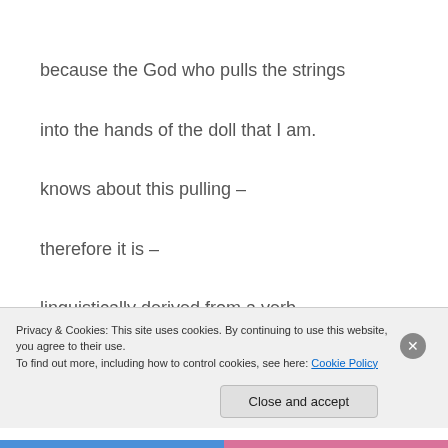because the God who pulls the strings
into the hands of the doll that I am.
knows about this pulling –
therefore it is –
linguistically derived from a verb
made by Him
Privacy & Cookies: This site uses cookies. By continuing to use this website, you agree to their use.
To find out more, including how to control cookies, see here: Cookie Policy
Close and accept